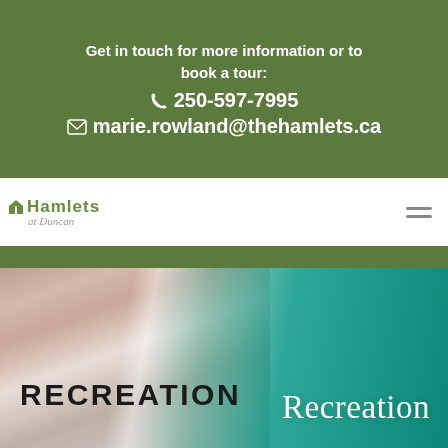Get in touch for more information or to book a tour:
☎ 250-597-7995
✉ marie.rowland@thehamlets.ca
[Figure (logo): Hamlets at Duncan logo — green building icon with 'Hamlets' text and 'at Duncan' italic subtitle]
[Figure (photo): Hero banner image showing a smiling elderly woman with glasses on the left, overlaid with a teal/green gradient on the right side containing the word 'Recreation' in white serif font]
RECREATION